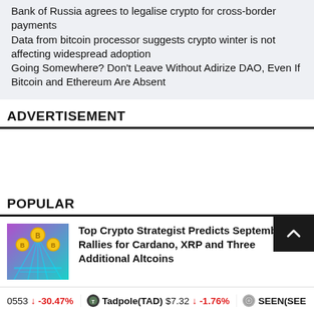Bank of Russia agrees to legalise crypto for cross-border payments
Data from bitcoin processor suggests crypto winter is not affecting widespread adoption
Going Somewhere? Don't Leave Without Adirize DAO, Even If Bitcoin and Ethereum Are Absent
ADVERTISEMENT
POPULAR
Top Crypto Strategist Predicts September Rallies for Cardano, XRP and Three Additional Altcoins
0553  -30.47%   Tadpole(TAD)  $7.32  -1.76%   SEEN(SEE